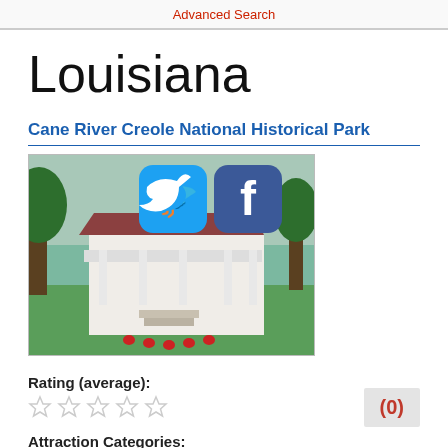Advanced Search
Louisiana
Cane River Creole National Historical Park
[Figure (photo): Photograph of a historic white Creole cottage with a covered porch, surrounded by green lawn and red flowering plants, with Twitter and Facebook social media icons overlaid on the upper portion of the image.]
Rating (average):
(0)
Attraction Categories:
Louisiana, Louisiana, Louisiana, Sightseeing, Things to do